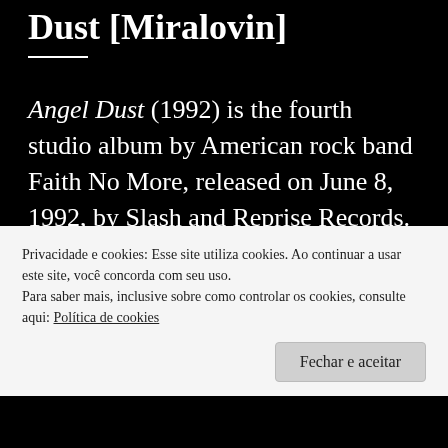Dust [Miralovin]
Angel Dust (1992) is the fourth studio album by American rock band Faith No More, released on June 8, 1992, by Slash and Reprise Records. It is the follow-up to 1989's highly successful The Real Thing, and was the band's final album to feature guitarist Jim Martin. It was also the first album where vocalist Mike Patton had any substantial influence on the band's music,
Privacidade e cookies: Esse site utiliza cookies. Ao continuar a usar este site, você concorda com seu uso.
Para saber mais, inclusive sobre como controlar os cookies, consulte aqui: Política de cookies
Fechar e aceitar